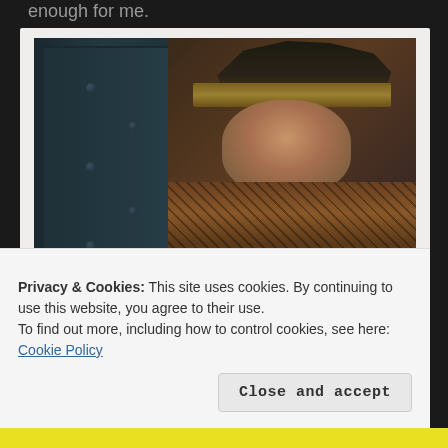enough for me.
[Figure (photo): A man in a dark tricorn hat with a yellow brim and a plaid/checkered jacket, peering around a large wooden door with ornate metal bolts, in a dark atmospheric movie still. Expression is mischievous and smiling.]
“I won an Oscar y’know.”
Privacy & Cookies: This site uses cookies. By continuing to use this website, you agree to their use.
To find out more, including how to control cookies, see here: Cookie Policy
Close and accept